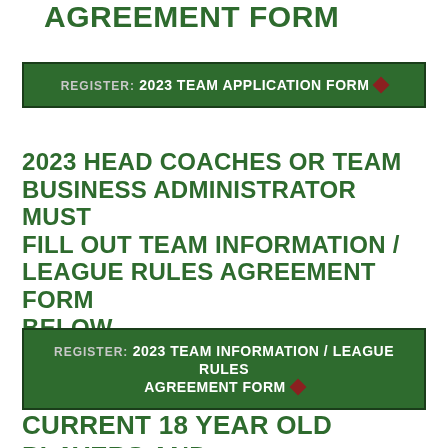AGREEMENT FORM
REGISTER: 2023 TEAM APPLICATION FORM ◆
2023 HEAD COACHES OR TEAM BUSINESS ADMINISTRATOR MUST FILL OUT TEAM INFORMATION / LEAGUE RULES AGREEMENT FORM BELOW
REGISTER: 2023 TEAM INFORMATION / LEAGUE RULES AGREEMENT FORM ◆
CURRENT 18 YEAR OLD PLAYERS AND